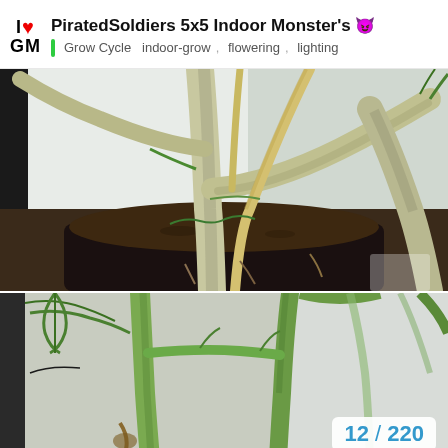PiratedSoldiers 5x5 Indoor Monster's 😈
Grow Cycle  indoor-grow,  flowering,  lighting
[Figure (photo): Close-up photo of large cannabis plant stems and branches in a black fabric pot with soil, showing thick woody stalks with multiple branch connections, shot in an indoor grow tent with reflective walls visible in background.]
[Figure (photo): Close-up photo of cannabis plant stems and branches showing green fibrous stalks with serrated leaf edges visible, indoor grow environment.]
12 / 220